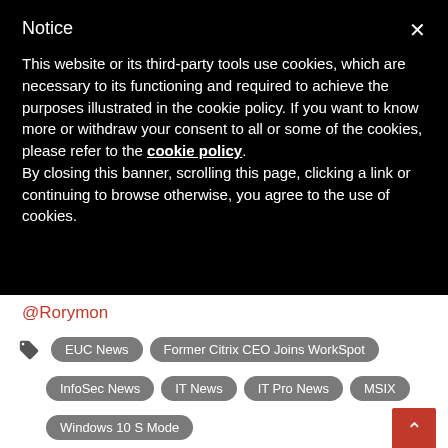Notice
This website or its third-party tools use cookies, which are necessary to its functioning and required to achieve the purposes illustrated in the cookie policy. If you want to know more or withdraw your consent to all or some of the cookies, please refer to the cookie policy.
By closing this banner, scrolling this page, clicking a link or continuing to browse otherwise, you agree to the use of cookies.
@Rorymon
EUC News
Former Citrix CEO Joins WorkSpot
InfoSec News
IT News
IT Pro News
MSIX
Windows 10 S Mode
PREVIOUS
NEXT